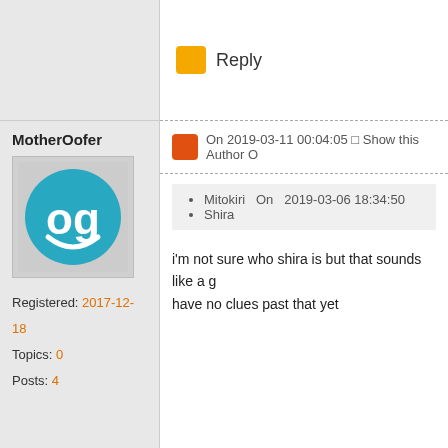Reply
MotherOofer
[Figure (illustration): Avatar icon: teal circle with white 'og' text and smiley curve on grey background]
Registered: 2017-12-18
Topics: 0
Posts: 4
On 2019-03-11 00:04:05 □ Show this Author O
Mitokiri  On  2019-03-06 18:34:50
Shira
i'm not sure who shira is but that sounds like a g have no clues past that yet